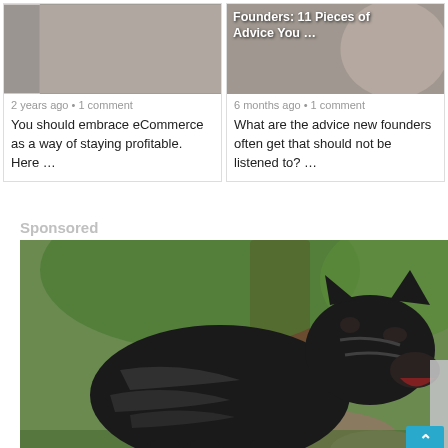[Figure (screenshot): Left article card with image showing text '4 Modern eCommerce Marketing Tips' overlaid on photo, with back arrow button]
2 years ago • 1 comment
You should embrace eCommerce as a way of staying profitable. Here …
[Figure (screenshot): Right article card with image showing text 'Founders: 11 Pieces of Advice You ...' overlaid on photo of person]
6 months ago • 1 comment
What are the advice new founders often get that should not be listened to? …
Sponsored
[Figure (photo): Large photo of a black brindle Cane Corso dog standing outdoors in front of a tree with green foliage and rocks in background]